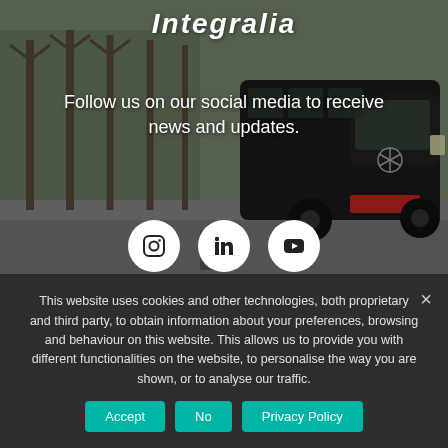[Figure (photo): Background hero image with a black Mercedes-Benz Sprinter van driving on a road with bare trees in the background, overlaid with the Integralia logo/title.]
Integralia
Follow us on our social media to receive news and updates.
[Figure (infographic): Three white circular social media icons: Instagram, LinkedIn, and YouTube]
Copyright © 2022 Integralia
This website uses cookies and other technologies, both proprietary and third party, to obtain information about your preferences, browsing and behaviour on this website. This allows us to provide you with different functionalities on the website, to personalise the way you are shown, or to analyse our traffic.
Accept
No
Privacy Policy